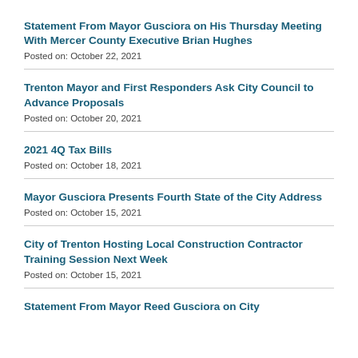Statement From Mayor Gusciora on His Thursday Meeting With Mercer County Executive Brian Hughes
Posted on: October 22, 2021
Trenton Mayor and First Responders Ask City Council to Advance Proposals
Posted on: October 20, 2021
2021 4Q Tax Bills
Posted on: October 18, 2021
Mayor Gusciora Presents Fourth State of the City Address
Posted on: October 15, 2021
City of Trenton Hosting Local Construction Contractor Training Session Next Week
Posted on: October 15, 2021
Statement From Mayor Reed Gusciora on City